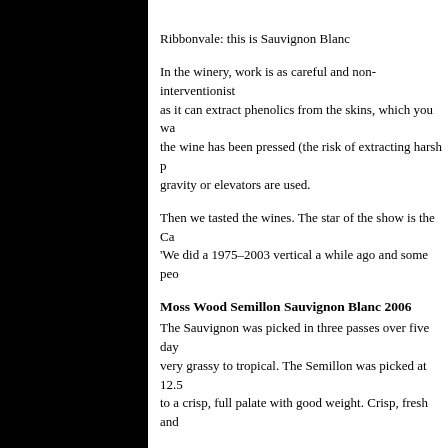Ribbonvale: this is Sauvignon Blanc
In the winery, work is as careful and non-interventionist as it can extract phenolics from the skins, which you wa the wine has been pressed (the risk of extracting harsh p gravity or elevators are used.
Then we tasted the wines. The star of the show is the Ca 'We did a 1975–2003 vertical a while ago and some peo
Moss Wood Semillon Sauvignon Blanc 2006
The Sauvignon was picked in three passes over five day very grassy to tropical. The Semillon was picked at 12.5 to a crisp, full palate with good weight. Crisp, fresh and
Moss Wood Semillon 2006
No oak used here. 2% solids are added to the ferment. F character and a light juicy finish. 89/100
Moss Wood Pemberton Chardonnay 2005
This is the last vintage made of this wine: controlling qu which continues to the palate. Fresh, but very herby, and
Moss Wood Chardonnay 2006
A was the last had tasted and tasted very more the